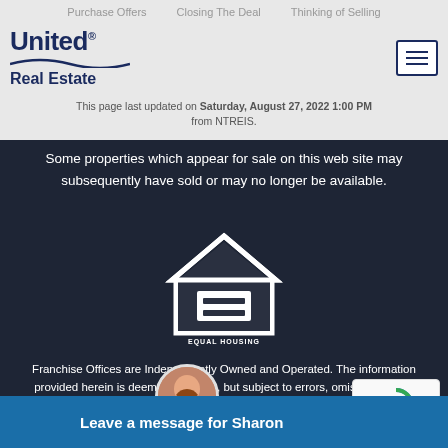Purchase Offers   Closing The Deal   Thinking of Selling   Mortgage Services
[Figure (logo): United Real Estate logo with wave graphic]
This page last updated on Saturday, August 27, 2022 1:00 PM from NTREIS.
Some properties which appear for sale on this web site may subsequently have sold or may no longer be available.
[Figure (logo): Equal Housing Opportunity logo - house icon with equal sign and text EQUAL HOUSING OPPORTUNITY]
Franchise Offices are Independently Owned and Operated. The information provided herein is deemed accurate, but subject to errors, omissions, price changes, prior sale or withdrawal. United Real Estate does not guarantee or is anyway responsible for the accuracy or completeness of information, and provides said information without warranties of any kind. Please verify all facts with the affiliate.
Copyright© United Real Estate
Leave a message for Sharon